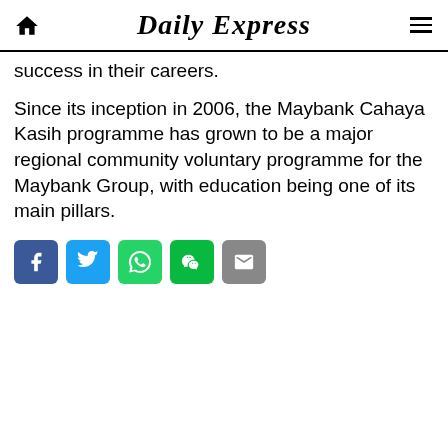Daily Express
success in their careers.
Since its inception in 2006, the Maybank Cahaya Kasih programme has grown to be a major regional community voluntary programme for the Maybank Group, with education being one of its main pillars.
[Figure (other): Social sharing buttons: Facebook, Twitter, WhatsApp, WeChat, Email]